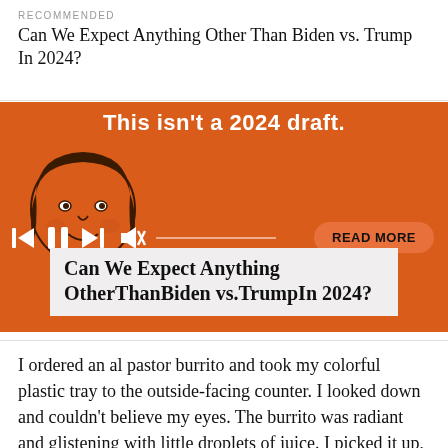RECOMMENDED
Can We Expect Anything Other Than Biden vs. Trump In 2024?
[Figure (screenshot): Orange audio podcast player widget with illustration of a woman's face, playback controls (skip back, pause, skip forward, mute), a horizontal progress line, a 'READ MORE' rounded button, and a title overlay box reading 'Can We Expect Anything OtherThanBiden vs.TrumpIn 2024?' on a light gray background. Above the controls is the text 'This isn't a 2024 draft.' in white bold text.]
I ordered an al pastor burrito and took my colorful plastic tray to the outside-facing counter. I looked down and couldn't believe my eyes. The burrito was radiant and glistening with little droplets of juice. I picked it up, gave it a squeeze and watched as the liquid ran the long stretch of the burrito. Lime juice